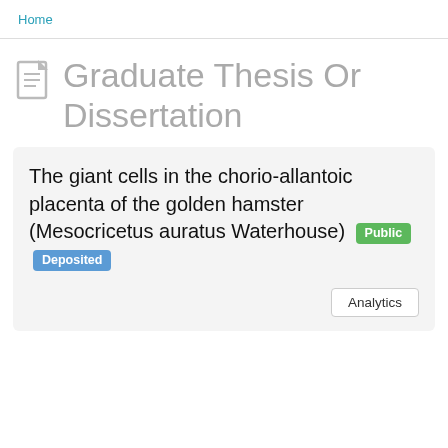Home
Graduate Thesis Or Dissertation
The giant cells in the chorio-allantoic placenta of the golden hamster (Mesocricetus auratus Waterhouse) [Public] [Deposited]